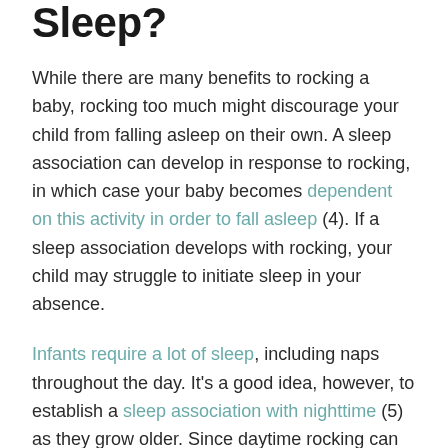Sleep?
While there are many benefits to rocking a baby, rocking too much might discourage your child from falling asleep on their own. A sleep association can develop in response to rocking, in which case your baby becomes dependent on this activity in order to fall asleep (4). If a sleep association develops with rocking, your child may struggle to initiate sleep in your absence.
Infants require a lot of sleep, including naps throughout the day. It's a good idea, however, to establish a sleep association with nighttime (5) as they grow older. Since daytime rocking can create powerful sleep cues for your child, you might consider reserving rocking for the